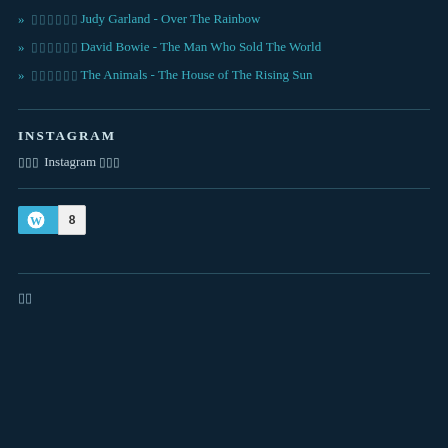» ▯▯▯▯▯▯Judy Garland - Over The Rainbow
» ▯▯▯▯▯▯David Bowie - The Man Who Sold The World
» ▯▯▯▯▯▯The Animals - The House of The Rising Sun
INSTAGRAM
▯▯▯ Instagram ▯▯▯
[Figure (other): WordPress follow button with count 8]
▯▯